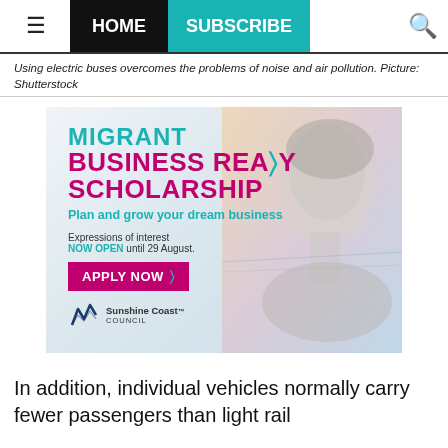HOME | SUBSCRIBE
Using electric buses overcomes the problems of noise and air pollution. Picture: Shutterstock
[Figure (illustration): Advertisement for Migrant Business Ready Scholarship by Sunshine Coast Council. Text: MIGRANT BUSINESS READY SCHOLARSHIP. Plan and grow your dream business. Expressions of interest NOW OPEN until 29 August. APPLY NOW button. Sunshine Coast Council logo. Background shows a woman's silhouette with scenic overlay.]
In addition, individual vehicles normally carry fewer passengers than light rail